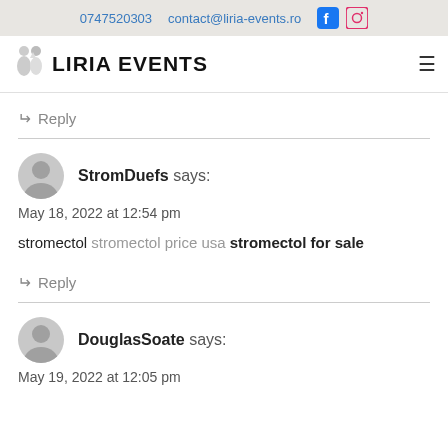0747520303   contact@liria-events.ro
LIRIA EVENTS
↩ Reply
StromDuefs says:
May 18, 2022 at 12:54 pm
stromectol stromectol price usa stromectol for sale
↩ Reply
DouglasSoate says:
May 19, 2022 at 12:05 pm